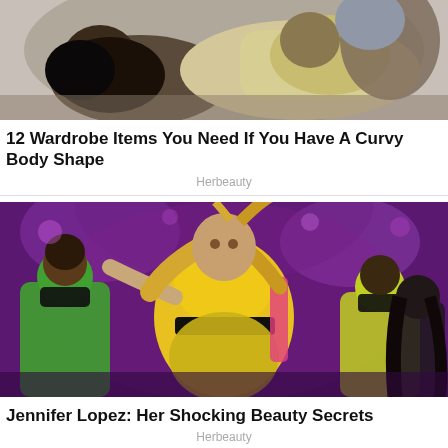[Figure (photo): Two women lying/posing on ground, one in yellow outfit with dark hair]
12 Wardrobe Items You Need If You Have A Curvy Body Shape
Herbeauty
[Figure (photo): Jennifer Lopez performing on stage in yellow and black outfit with dancers in background wearing masks, purple stage lighting]
Jennifer Lopez: Her Shocking Beauty Secrets
Herbeauty
[Figure (photo): Partial image of a third article, cropped at bottom of page]